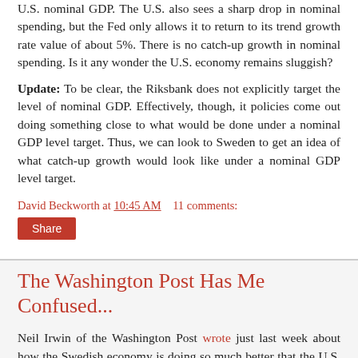U.S. nominal GDP. The U.S. also sees a sharp drop in nominal spending, but the Fed only allows it to return to its trend growth rate value of about 5%. There is no catch-up growth in nominal spending. Is it any wonder the U.S. economy remains sluggish?
Update: To be clear, the Riksbank does not explicitly target the level of nominal GDP. Effectively, though, it policies come out doing something close to what would be done under a nominal GDP level target. Thus, we can look to Sweden to get an idea of what catch-up growth would look like under a nominal GDP level target.
David Beckworth at 10:45 AM    11 comments:
Share
The Washington Post Has Me Confused...
Neil Irwin of the Washington Post wrote just last week about how the Swedish economy is doing so much better that the U.S. economy and attributed part of that success to a more...